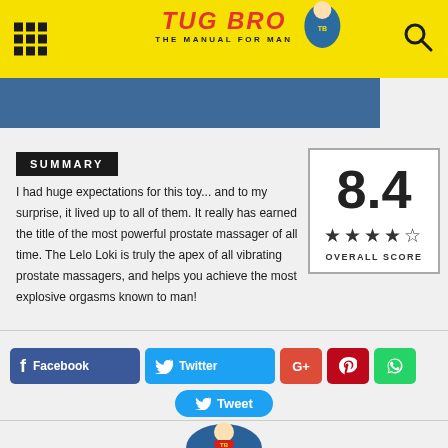TUG BRO THE MANUAL FOR MAN
SUMMARY
I had huge expectations for this toy... and to my surprise, it lived up to all of them. It really has earned the title of the most powerful prostate massager of all time. The Lelo Loki is truly the apex of all vibrating prostate massagers, and helps you achieve the most explosive orgasms known to man!
[Figure (infographic): Overall score box showing 8.4 with 4 out of 5 stars and label OVERALL SCORE]
[Figure (infographic): Social share buttons: Facebook, Twitter, G+, Pinterest, WhatsApp, and a Tweet button]
[Figure (logo): Tug Bro superhero mascot logo at bottom]